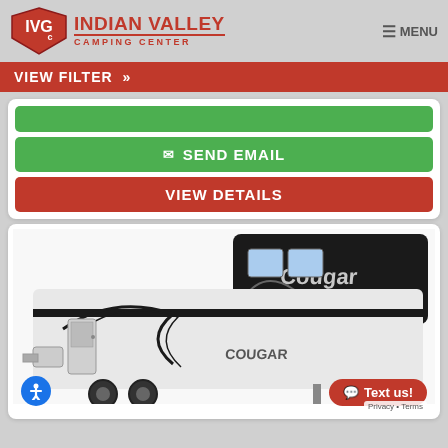INDIAN VALLEY CAMPING CENTER
VIEW FILTER »
[Figure (screenshot): Green button (top, partial)]
✉ SEND EMAIL
VIEW DETAILS
[Figure (photo): Cougar RV fifth wheel trailer side view, white and black with Cougar branding]
Text us!
Privacy • Terms